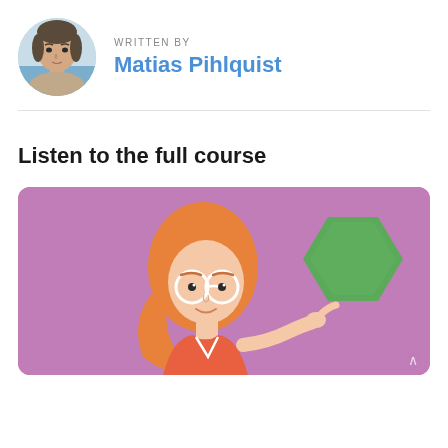[Figure (photo): Circular profile photo of a man (Matias Pihlquist) with a beach/sea background]
WRITTEN BY
Matias Pihlquist
Listen to the full course
[Figure (illustration): Animated illustration of a girl with orange hair and glasses holding a green book/shield, on a purple/mauve background]